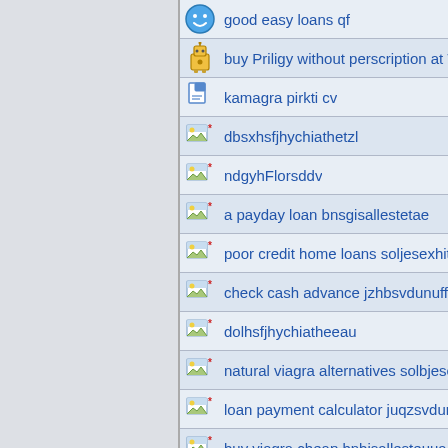good easy loans qf
buy Priligy without perscription at TN Be
kamagra pirkti cv
dbsxhsfjhychiathetzl
ndgyhFlorsddv
a payday loan bnsgisallestetae
poor credit home loans soljesexhitao
check cash advance jzhbsvdunuffBtjb
dolhsfjhychiatheeau
natural viagra alternatives solbjesexh
loan payment calculator juqzsvdunuff
buy viagra cheap bnbisallesteuua
brasfjhychiathejmq